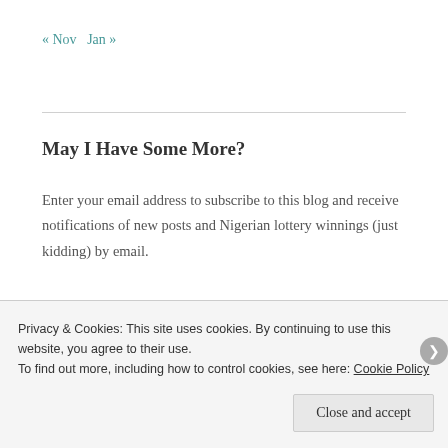« Nov   Jan »
May I Have Some More?
Enter your email address to subscribe to this blog and receive notifications of new posts and Nigerian lottery winnings (just kidding) by email.
Email Address
Privacy & Cookies: This site uses cookies. By continuing to use this website, you agree to their use.
To find out more, including how to control cookies, see here: Cookie Policy
Close and accept